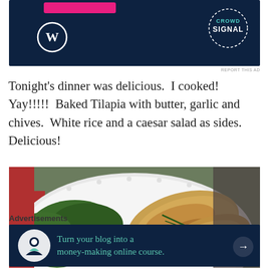[Figure (screenshot): Dark navy blue advertisement banner with a pink button, WordPress logo on the left, and Crowd Signal circular logo on the right on a dotted background.]
Tonight's dinner was delicious.  I cooked! Yay!!!!!  Baked Tilapia with butter, garlic and chives.  White rice and a caesar salad as sides.  Delicious!
[Figure (photo): Photo of a white plate with baked tilapia fish fillets and a caesar salad with greens and white dressing on a dark wooden surface with a red cloth.]
Advertisements
[Figure (screenshot): Dark navy advertisement banner with Thinkific logo icon and text: Turn your blog into a money-making online course. with a right arrow button.]